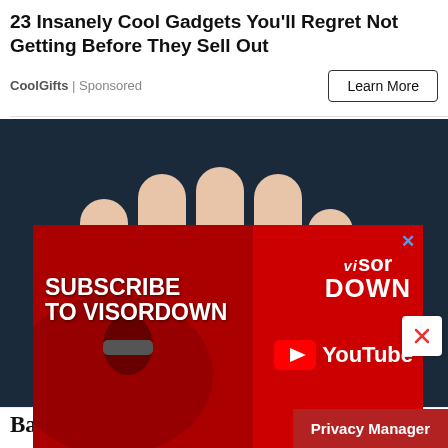23 Insanely Cool Gadgets You'll Regret Not Getting Before They Sell Out
CoolGifts | Sponsored
Learn More
[Figure (photo): A hand holding several dark red sugar-coated gummy candy pieces]
Banned For 84 Years: Powerful Pain
[Figure (infographic): Red advertisement banner: SUBSCRIBE TO VISORDOWN with visordown YouTube logo]
Privacy Manager